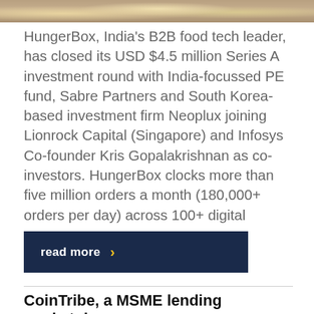[Figure (photo): Top portion of a food-related image showing dishes/food items]
HungerBox, India's B2B food tech leader, has closed its USD $4.5 million Series A investment round with India-focussed PE fund, Sabre Partners and South Korea-based investment firm Neoplux joining Lionrock Capital (Singapore) and Infosys Co-founder Kris Gopalakrishnan as co-investors. HungerBox clocks more than five million orders a month (180,000+ orders per day) across 100+ digital
read more ›
CoinTribe, a MSME lending marketplace, raises US$ 10 Million from Sabre Partners